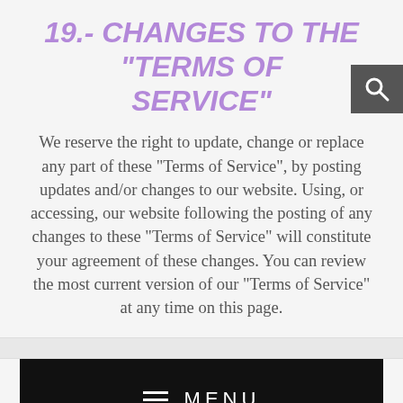19.- CHANGES TO THE “TERMS OF SERVICE”
We reserve the right to update, change or replace any part of these “Terms of Service”, by posting updates and/or changes to our website. Using, or accessing, our website following the posting of any changes to these “Terms of Service” will constitute your agreement of these changes. You can review the most current version of our “Terms of Service” at any time on this page.
Questions about the “Terms of Service” should